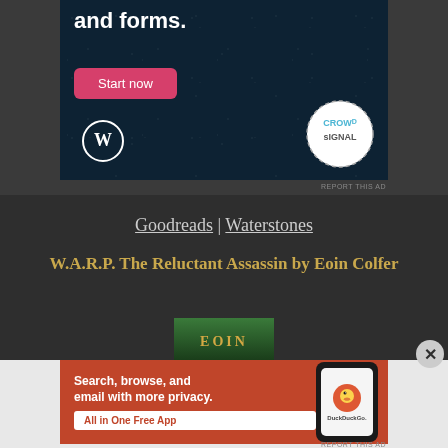[Figure (screenshot): WordPress/CrowdSignal advertisement banner with dark blue background, 'and forms.' text, pink 'Start now' button, WordPress logo bottom-left, CrowdSignal circular logo bottom-right]
REPORT THIS AD
Goodreads | Waterstones
W.A.R.P. The Reluctant Assassin by Eoin Colfer
[Figure (screenshot): Partial book cover image showing green foliage and partial text 'EOIN' in gold letters]
[Figure (screenshot): DuckDuckGo advertisement banner with orange/red background, 'Search, browse, and email with more privacy.' text, 'All in One Free App' button, phone mockup with DuckDuckGo duck logo]
REPORT THIS AD